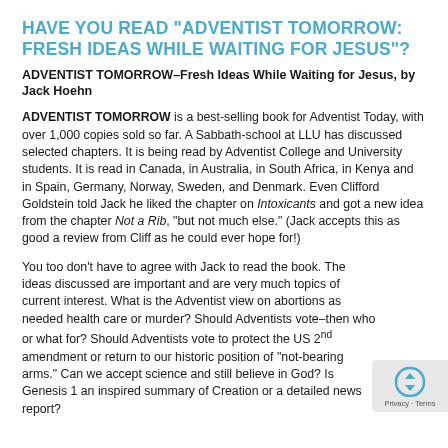HAVE YOU READ "ADVENTIST TOMORROW: FRESH IDEAS WHILE WAITING FOR JESUS"?
ADVENTIST TOMORROW–Fresh Ideas While Waiting for Jesus, by Jack Hoehn
ADVENTIST TOMORROW is a best-selling book for Adventist Today, with over 1,000 copies sold so far. A Sabbath-school at LLU has discussed selected chapters. It is being read by Adventist College and University students. It is read in Canada, in Australia, in South Africa, in Kenya and in Spain, Germany, Norway, Sweden, and Denmark. Even Clifford Goldstein told Jack he liked the chapter on Intoxicants and got a new idea from the chapter Not a Rib, "but not much else." (Jack accepts this as good a review from Cliff as he could ever hope for!)
You too don't have to agree with Jack to read the book. The ideas discussed are important and are very much topics of current interest. What is the Adventist view on abortions as needed health care or murder? Should Adventists vote–then who or what for? Should Adventists vote to protect the US 2nd amendment or return to our historic position of "not-bearing arms." Can we accept science and still believe in God? Is Genesis 1 an inspired summary of Creation or a detailed news report?